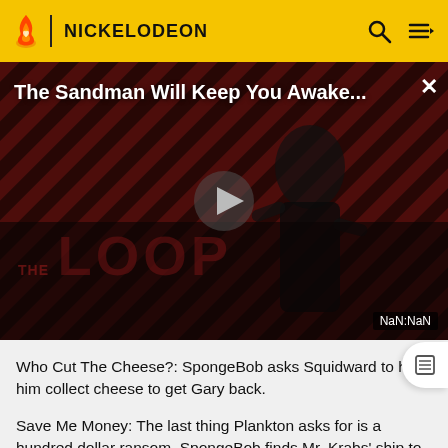NICKELODEON
[Figure (screenshot): Video player showing 'The Sandman Will Keep You Awake...' with a dark figure on a striped red/black background, THE LOOP logo, play button, close button, and NaN:NaN time display]
Who Cut The Cheese?: SpongeBob asks Squidward to help him collect cheese to get Gary back.
Save Me Money: The last thing Plankton asks for is a hundred dollar ransom. SpongeBob finds Mr. Krabs' ship to